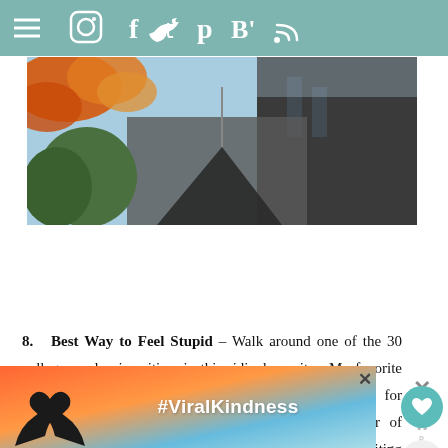Navigation bar with hamburger menu and social icons: Instagram, Facebook, Twitter, Pinterest, Bloglovin, RSS
[Figure (photo): Autumn scene with orange/red leaves top-left, buildings and dark structure in background, blue sky]
8. Best Way to Feel Stupid – Walk around one of the 30 colleges and universities in this ridiculous city. My favorite for sheer beauty is Boston College. My favorite for posterity is Harvard. Harvard also has a great center of town in Cambridge that is fun to walk through. Visiting Harvard in the fall is a must for
[Figure (screenshot): Ad banner with heart-hands silhouette and #ViralKindness text on colorful sunset background]